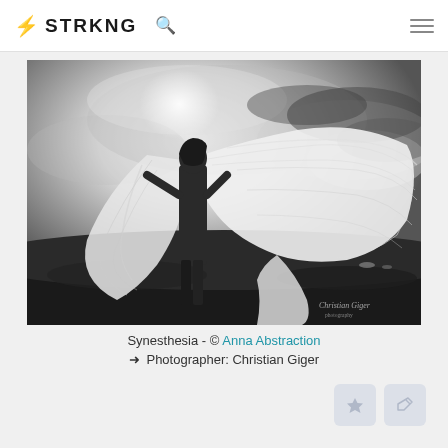⚡ STRKNG 🔍
[Figure (photo): Black and white fine art photograph titled 'Synesthesia'. A woman with a short bob haircut stands in a dramatic pose outdoors, holding a large billowing translucent fabric that spreads wide like wings. The background features moody, swirling clouds and a bright backlight creating a halo effect. The image is signed 'Christian Giger' in the lower right corner.]
Synesthesia - © Anna Abstraction
➜ Photographer: Christian Giger